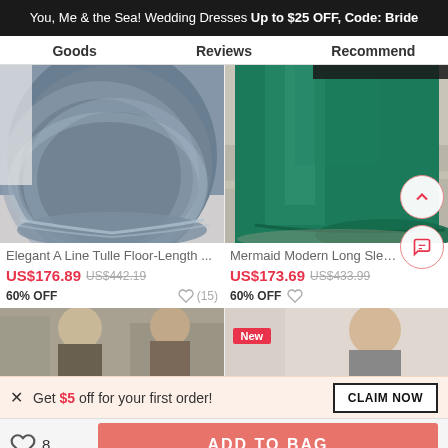You, Me & the Sea! Wedding Dresses Up to $25 OFF, Code: Bride
Goods | Reviews | Recommend
[Figure (photo): Elegant A-line tulle floor-length dress in dark blue/teal, showing skirt and train on white carpet]
[Figure (photo): Mermaid modern long sleeve dress in emerald green, showing skirt and train on pavement]
Elegant A Line Tulle Floor-Length ...
Mermaid Modern Long Sleeve
US$176.89  US$442.19  60% OFF  ♡ (15)
US$173.69  US$433.99  60% OFF
[Figure (photo): Bottom partial product image left - figure in outdoor setting]
[Figure (photo): Bottom partial product image right - figure with New badge]
× Get $5 off for your first order!
CLAIM NOW
♡ 8   ADD TO BAG